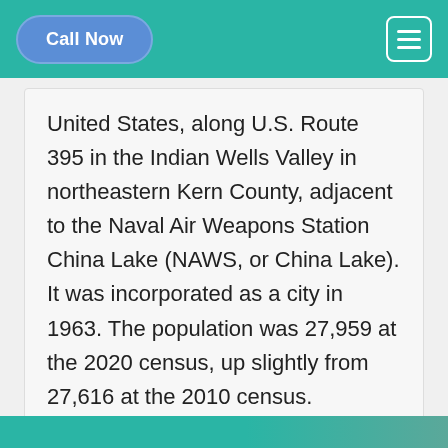Call Now
United States, along U.S. Route 395 in the Indian Wells Valley in northeastern Kern County, adjacent to the Naval Air Weapons Station China Lake (NAWS, or China Lake). It was incorporated as a city in 1963. The population was 27,959 at the 2020 census, up slightly from 27,616 at the 2010 census. Ridgecrest is surrounded by four mountain ranges; the